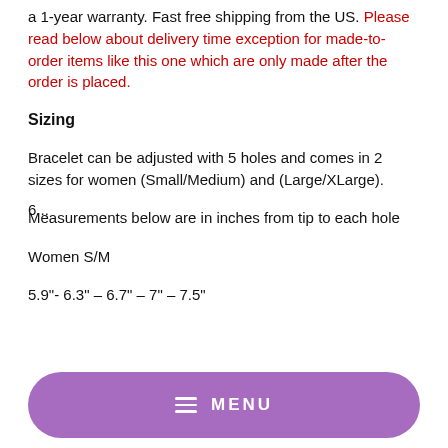a 1-year warranty. Fast free shipping from the US. Please read below about delivery time exception for made-to-order items like this one which are only made after the order is placed.
Sizing
Bracelet can be adjusted with 5 holes and comes in 2 sizes for women (Small/Medium) and (Large/XLarge).
Measurements below are in inches from tip to each hole
Women S/M
5.9"- 6.3" – 6.7" – 7" – 7.5"
6....